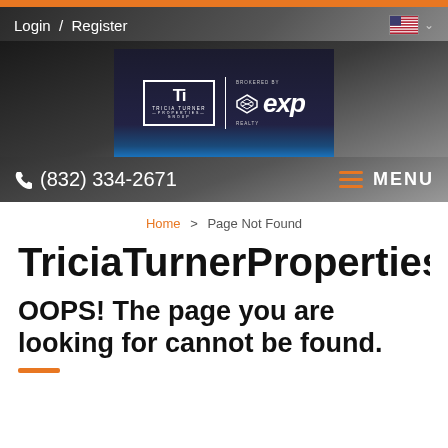Login / Register
[Figure (logo): Tricia Turner Properties Group logo with eXp Realty logo, dark background with blue bottom stripe]
(832) 334-2671   MENU
Home > Page Not Found
TriciaTurnerPropertiesGroup.
OOPS! The page you are looking for cannot be found.